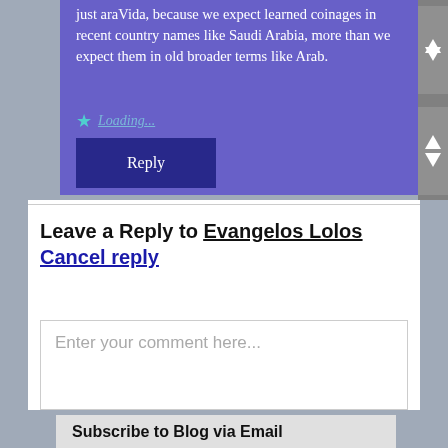just araVida, because we expect learned coinages in recent country names like Saudi Arabia, more than we expect them in old broader terms like Arab.
Loading...
Reply
Leave a Reply to Evangelos Lolos Cancel reply
Enter your comment here...
Subscribe to Blog via Email